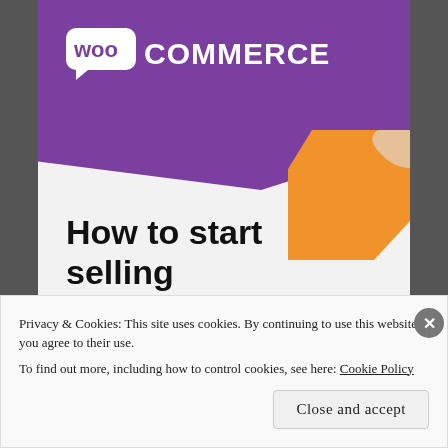[Figure (logo): WooCommerce logo on purple banner background with orange decorative shape]
How to start selling subscriptions
Privacy & Cookies: This site uses cookies. By continuing to use this website, you agree to their use.
To find out more, including how to control cookies, see here: Cookie Policy
Close and accept